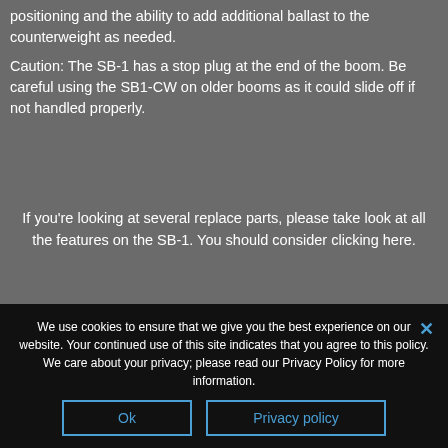positioning and the ability to add additional ballast to the counterweight as needed.
Caution: The SB-1 has a stop plug at the end of the boom. Be careful using the SB1-CW on older booms as it could slide off if not handled properly.
If you're looking at several replace parts, please take look at all the features on the SB-1. You should consider clicking here.
We use cookies to ensure that we give you the best experience on our website. Your continued use of this site indicates that you agree to this policy. We care about your privacy; please read our Privacy Policy for more information.